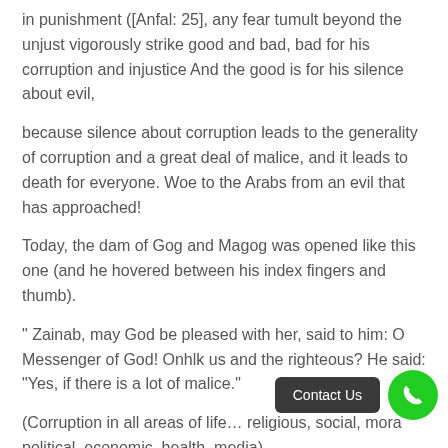in punishment ([Anfal: 25], any fear tumult beyond the unjust vigorously strike good and bad, bad for his corruption and injustice And the good is for his silence about evil,
because silence about corruption leads to the generality of corruption and a great deal of malice, and it leads to death for everyone. Woe to the Arabs from an evil that has approached!
Today, the dam of Gog and Magog was opened like this one (and he hovered between his index fingers and thumb).
" Zainab, may God be pleased with her, said to him: O Messenger of God! Onhlk us and the righteous? He said: "Yes, if there is a lot of malice."
(Corruption in all areas of life… religious, social, moral, political, economic, health, media).